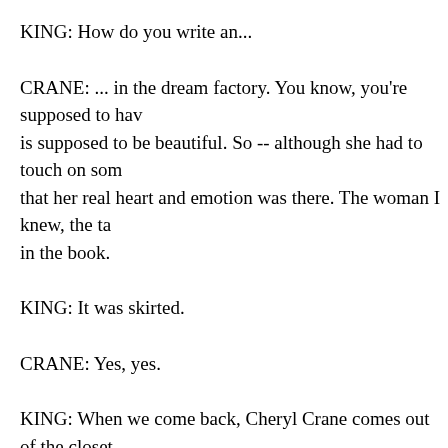KING: How do you write an...
CRANE: ... in the dream factory. You know, you're supposed to have is supposed to be beautiful. So -- although she had to touch on som that her real heart and emotion was there. The woman I knew, the ta in the book.
KING: It was skirted.
CRANE: Yes, yes.
KING: When we come back, Cheryl Crane comes out of the closet.
(BEGIN VIDEO CLIP, "LATIN LOVERS," COURTESY TURNE
RICARDO MONTALBAN, ACTOR: I lead, not you. You're not the